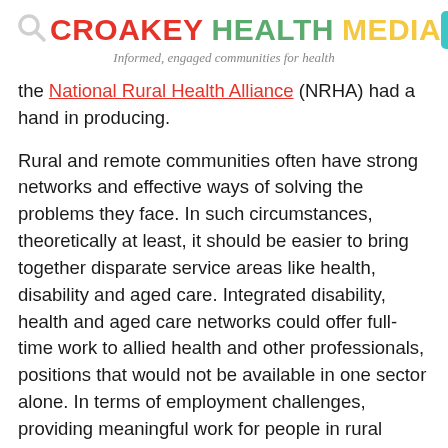CROAKEY HEALTH MEDIA — Informed, engaged communities for health
the National Rural Health Alliance (NRHA) had a hand in producing.
Rural and remote communities often have strong networks and effective ways of solving the problems they face. In such circumstances, theoretically at least, it should be easier to bring together disparate service areas like health, disability and aged care. Integrated disability, health and aged care networks could offer full-time work to allied health and other professionals, positions that would not be available in one sector alone. In terms of employment challenges, providing meaningful work for people in rural areas with a disability is also a major dilemma.